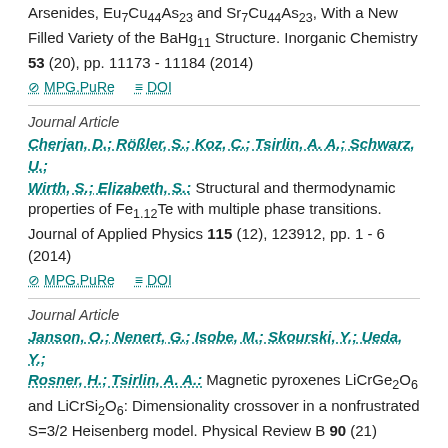Arsenides, Eu7Cu44As23 and Sr7Cu44As23, With a New Filled Variety of the BaHg11 Structure. Inorganic Chemistry 53 (20), pp. 11173 - 11184 (2014)
MPG.PuRe   DOI
Journal Article
Cherjan, D.; Rößler, S.; Koz, C.; Tsirlin, A. A.; Schwarz, U.; Wirth, S.; Elizabeth, S.: Structural and thermodynamic properties of Fe1.12Te with multiple phase transitions. Journal of Applied Physics 115 (12), 123912, pp. 1 - 6 (2014)
MPG.PuRe   DOI
Journal Article
Janson, O.; Nenert, G.; Isobe, M.; Skourski, Y.; Ueda, Y.; Rosner, H.; Tsirlin, A. A.: Magnetic pyroxenes LiCrGe2O6 and LiCrSi2O6: Dimensionality crossover in a nonfrustrated S=3/2 Heisenberg model. Physical Review B 90 (21)